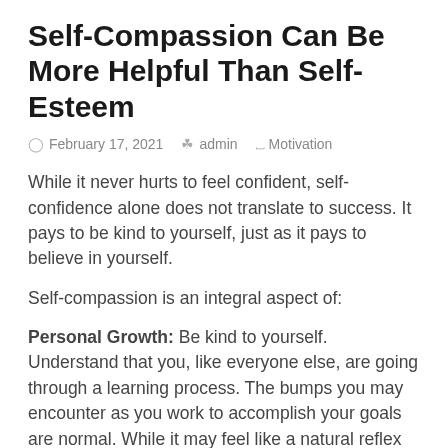Self-Compassion Can Be More Helpful Than Self-Esteem
February 17, 2021   admin   Motivation
While it never hurts to feel confident, self-confidence alone does not translate to success. It pays to be kind to yourself, just as it pays to believe in yourself.
Self-compassion is an integral aspect of:
Personal Growth: Be kind to yourself. Understand that you, like everyone else, are going through a learning process. The bumps you may encounter as you work to accomplish your goals are normal. While it may feel like a natural reflex to be self-contemptuous after missteps and unwanted outcomes, beware spending too much time feeling